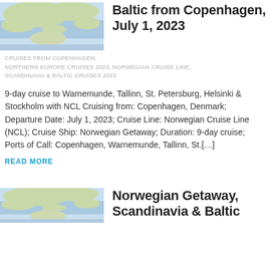[Figure (map): Map showing Northern Europe / Baltic Sea region]
Baltic from Copenhagen, July 1, 2023
CRUISES FROM COPENHAGEN, NORTHERN EUROPE CRUISES 2023, NORWEGIAN CRUISE LINE, SCANDINAVIA & BALTIC CRUISES 2023
9-day cruise to Warnemunde, Tallinn, St. Petersburg, Helsinki & Stockholm with NCL Cruising from: Copenhagen, Denmark; Departure Date: July 1, 2023; Cruise Line: Norwegian Cruise Line (NCL); Cruise Ship: Norwegian Getaway; Duration: 9-day cruise; Ports of Call: Copenhagen, Warnemunde, Tallinn, St.[…]
READ MORE
[Figure (map): Map showing Northern Europe / Baltic Sea region for second article]
Norwegian Getaway, Scandinavia & Baltic